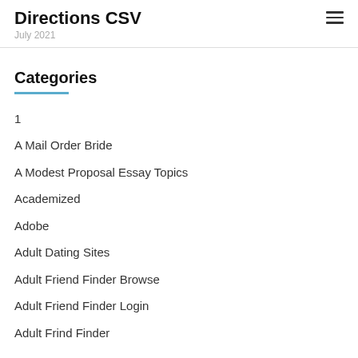Directions CSV
July 2021
Categories
1
A Mail Order Bride
A Modest Proposal Essay Topics
Academized
Adobe
Adult Dating Sites
Adult Friend Finder Browse
Adult Friend Finder Login
Adult Frind Finder